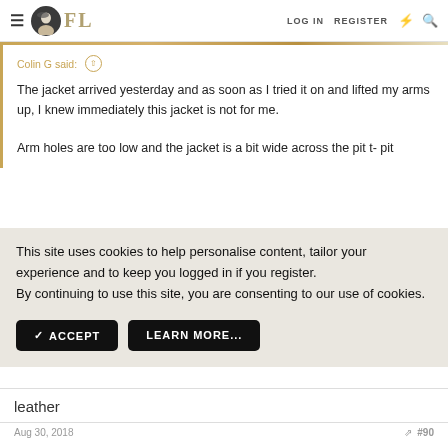≡ FL LOG IN REGISTER ⚡ 🔍
Colin G said: ↑

The jacket arrived yesterday and as soon as I tried it on and lifted my arms up, I knew immediately this jacket is not for me.

Arm holes are too low and the jacket is a bit wide across the pit t- pit
This site uses cookies to help personalise content, tailor your experience and to keep you logged in if you register.
By continuing to use this site, you are consenting to our use of cookies.
leather
Aug 30, 2018  #90